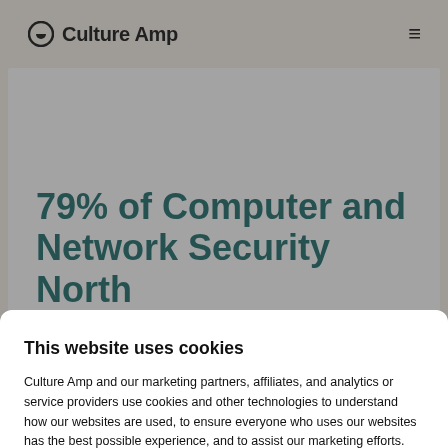Culture Amp
79% of Computer and Network Security North
This website uses cookies
Culture Amp and our marketing partners, affiliates, and analytics or service providers use cookies and other technologies to understand how our websites are used, to ensure everyone who uses our websites has the best possible experience, and to assist our marketing efforts. You can opt in to, or out of, different types of cookies, according to your preferences.
Accept all cookies
Manage preferences